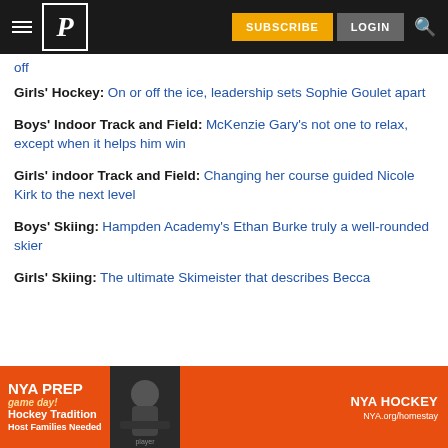P | SUBSCRIBE | LOGIN
off
Girls' Hockey: On or off the ice, leadership sets Sophie Goulet apart
Boys' Indoor Track and Field: McKenzie Gary's not one to relax, except when it helps him win
Girls' indoor Track and Field: Changing her course guided Nicole Kirk to the next level
Boys' Skiing: Hampden Academy's Ethan Burke truly a well-rounded skier
Girls' Skiing: The ultimate Skimeister that describes Becca
[Figure (illustration): NYA PREP Hockey Tradition advertisement banner. Orange background with hockey player image, text: NYA PREP, game day!, Hockey Tradition, Host Families Needed, NYA HOCKEY, NYA.org/homestay]